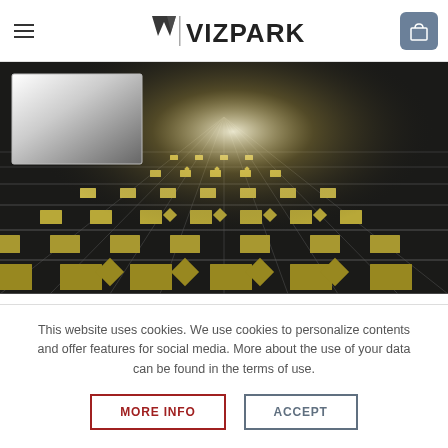VIZPARK
[Figure (photo): Product preview showing a tiled floor pattern with dark background and gold/yellow cross and diamond shapes, with a metallic sphere preview inset in the upper left corner. Perspective view with bright light reflection in the center.]
This website uses cookies. We use cookies to personalize contents and offer features for social media. More about the use of your data can be found in the terms of use.
MORE INFO
ACCEPT